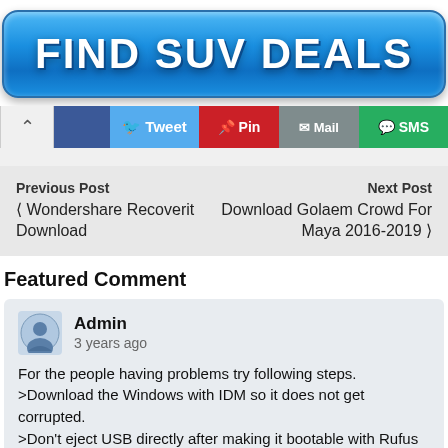[Figure (other): Blue gradient banner button with text FIND SUV DEALS in white bold letters]
[Figure (other): Social sharing bar with up arrow, Facebook, Tweet, Pin, Mail, and SMS buttons]
Previous Post
‹ Wondershare Recoverit Download
Next Post
Download Golaem Crowd For Maya 2016-2019 ›
Featured Comment
Admin
3 years ago
For the people having problems try following steps.
>Download the Windows with IDM so it does not get corrupted.
>Don't eject USB directly after making it bootable with Rufus instead first select Eject USB safely.
>Use a working USB port that works correctly.